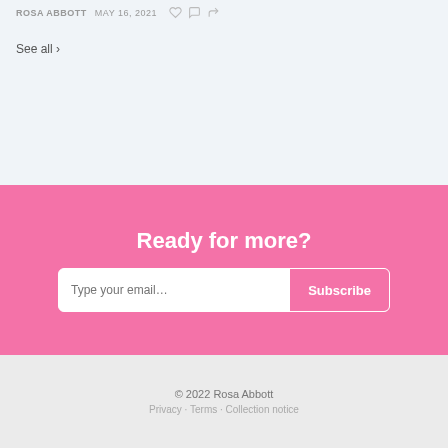ROSA ABBOTT  MAY 16, 2021
See all ›
Ready for more?
Type your email…  Subscribe
© 2022 Rosa Abbott
Privacy · Terms · Collection notice